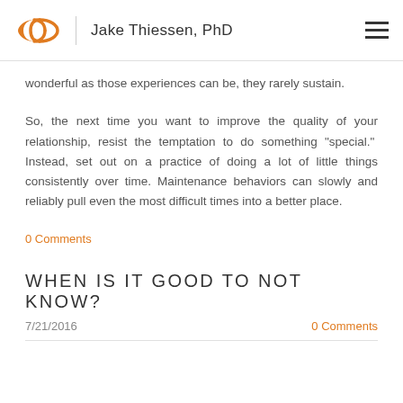Jake Thiessen, PhD
wonderful as those experiences can be, they rarely sustain.
So, the next time you want to improve the quality of your relationship, resist the temptation to do something "special." Instead, set out on a practice of doing a lot of little things consistently over time. Maintenance behaviors can slowly and reliably pull even the most difficult times into a better place.
0 Comments
WHEN IS IT GOOD TO NOT KNOW?
7/21/2016   0 Comments